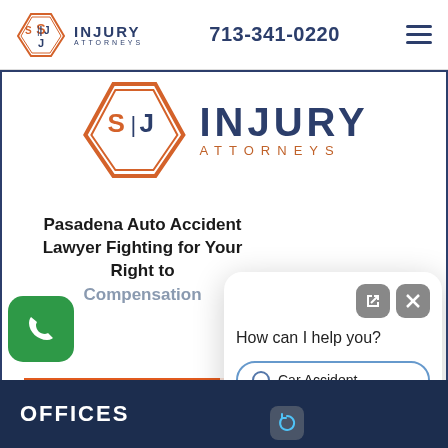[Figure (logo): SJ Injury Attorneys logo in nav bar — octagon outline with S|J initials in orange, INJURY ATTORNEYS text in navy]
713-341-0220
[Figure (logo): Large SJ Injury Attorneys logo — octagon with S|J in orange/navy, INJURY in large navy bold, ATTORNEYS in orange spaced text]
Pasadena Auto Accident Lawyer Fighting for Your Right to Compensation
[Figure (screenshot): Chatbot popup overlay asking 'How can I help you?' with radio options: Car Accident, Truck Accident, Workplace Injury]
REQUEST CONSULTATION
OFFICES